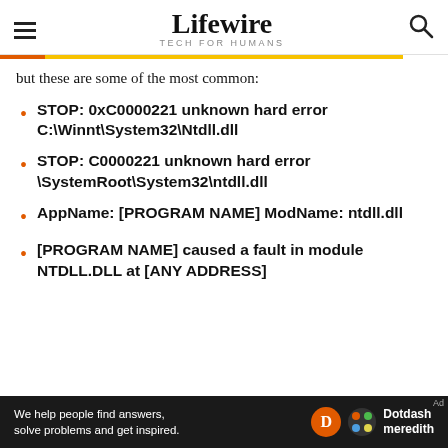Lifewire TECH FOR HUMANS
but these are some of the most common:
STOP: 0xC0000221 unknown hard error C:\Winnt\System32\Ntdll.dll
STOP: C0000221 unknown hard error \SystemRoot\System32\ntdll.dll
AppName: [PROGRAM NAME] ModName: ntdll.dll
[PROGRAM NAME] caused a fault in module NTDLL.DLL at [ANY ADDRESS]
[Figure (other): Dotdash Meredith advertisement banner: 'We help people find answers, solve problems and get inspired.']